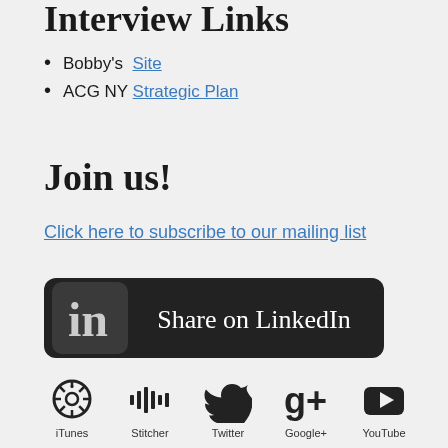Interview Links
Bobby's Site
ACG NY Strategic Plan
Join us!
Click here to subscribe to our mailing list
[Figure (illustration): LinkedIn Share button with 'in' logo on dark rounded rectangle background, text reads 'Share on LinkedIn']
[Figure (illustration): Row of social media icons: iTunes (podcast icon), Stitcher (waveform bars), Twitter (bird), Google+ (g+), YouTube (play button triangle in rounded rectangle), each with label below]